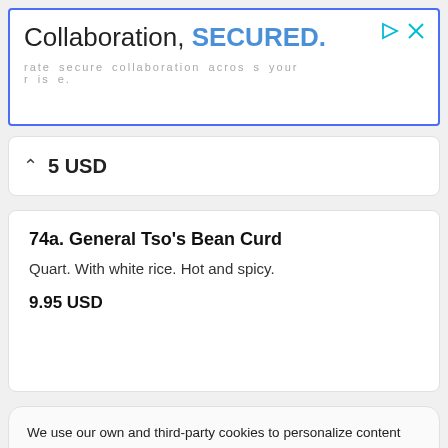[Figure (screenshot): Advertisement banner with blue border. Text: 'Collaboration, SECURED.' with subtitle 'rate secure collaboration across your rise.' and close/ad icons.]
5 USD
74a. General Tso's Bean Curd
Quart. With white rice. Hot and spicy.
9.95 USD
We use our own and third-party cookies to personalize content and to analyze web traffic. Read more about cookies